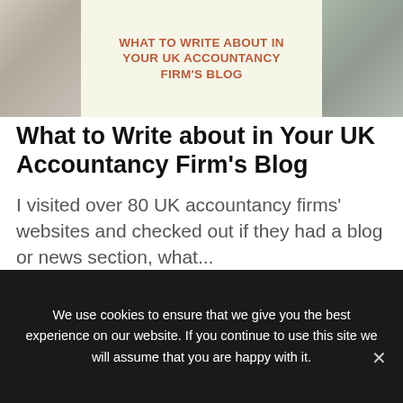[Figure (illustration): Header banner image with two photos of accounting/office items (calculator, papers, pens) flanking a centered beige panel with the text 'WHAT TO WRITE ABOUT IN YOUR UK ACCOUNTANCY FIRM'S BLOG' in brown uppercase letters]
What to Write about in Your UK Accountancy Firm's Blog
I visited over 80 UK accountancy firms' websites and checked out if they had a blog or news section, what...
We use cookies to ensure that we give you the best experience on our website. If you continue to use this site we will assume that you are happy with it.